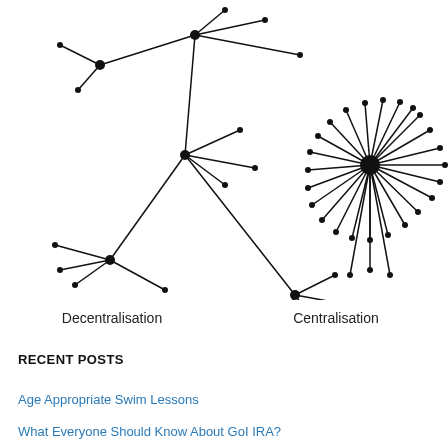[Figure (network-graph): Two network graphs side by side. Left: decentralised network with multiple hub nodes and sparse connections. Right: centralised network with one central hub node connected to many peripheral nodes.]
Decentralisation
Centralisation
RECENT POSTS
Age Appropriate Swim Lessons
What Everyone Should Know About GoI IRA?